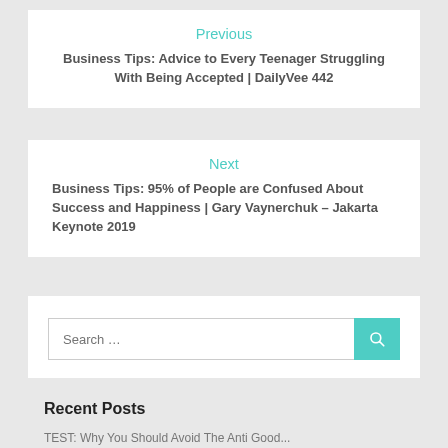Previous
Business Tips: Advice to Every Teenager Struggling With Being Accepted | DailyVee 442
Next
Business Tips: 95% of People are Confused About Success and Happiness | Gary Vaynerchuk – Jakarta Keynote 2019
Search ...
Recent Posts
TEST: Why You Should Avoid The Anti Good...